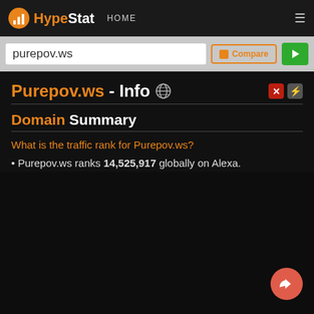HypeStat — HOME
purepov.ws
Purepov.ws - Info
Domain Summary
What is the traffic rank for Purepov.ws?
Purepov.ws ranks 14,525,917 globally on Alexa.